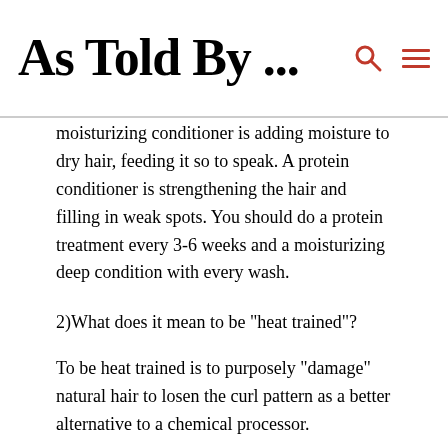As Told By ...
moisturizing conditioner is adding moisture to dry hair, feeding it so to speak. A protein conditioner is strengthening the hair and filling in weak spots. You should do a protein treatment every 3-6 weeks and a moisturizing deep condition with every wash.
2)What does it mean to be "heat trained"?
To be heat trained is to purposely "damage" natural hair to losen the curl pattern as a better alternative to a chemical processor.
3)What is the difference between "texlaxed" and "relaxed"?
Texlaxed is when you buy a weaker strength relaxer/leave a regular strength relaxer on for 10 minutes or less so that you purposely